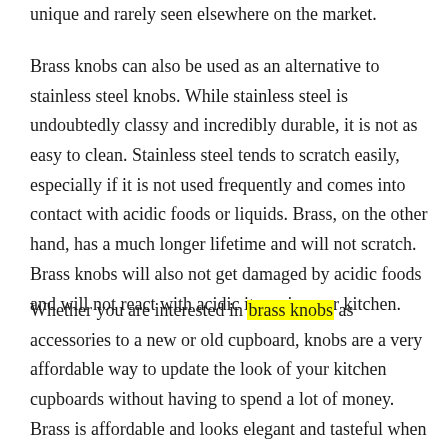unique and rarely seen elsewhere on the market.
Brass knobs can also be used as an alternative to stainless steel knobs. While stainless steel is undoubtedly classy and incredibly durable, it is not as easy to clean. Stainless steel tends to scratch easily, especially if it is not used frequently and comes into contact with acidic foods or liquids. Brass, on the other hand, has a much longer lifetime and will not scratch. Brass knobs will also not get damaged by acidic foods and will not react with acidic items in your kitchen.
Whether you are interested in brass knobs as accessories to a new or old cupboard, knobs are a very affordable way to update the look of your kitchen cupboards without having to spend a lot of money. Brass is affordable and looks elegant and tasteful when paired with wood or metal. It is